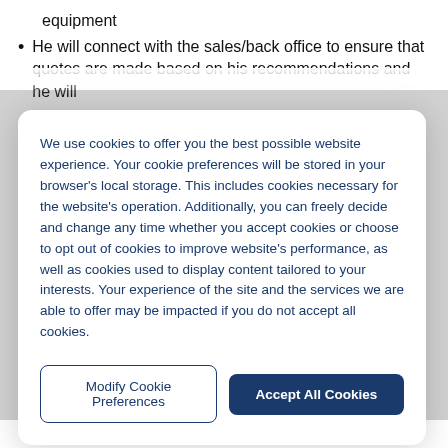equipment
He will connect with the sales/back office to ensure that quotes are made based on his recommendations and he will
We use cookies to offer you the best possible website experience. Your cookie preferences will be stored in your browser's local storage. This includes cookies necessary for the website's operation. Additionally, you can freely decide and change any time whether you accept cookies or choose to opt out of cookies to improve website's performance, as well as cookies used to display content tailored to your interests. Your experience of the site and the services we are able to offer may be impacted if you do not accept all cookies.
improving / maximizing EB sales and